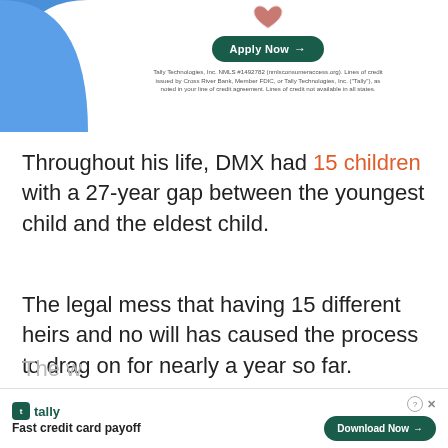[Figure (other): Top advertisement for Tally credit app showing a heart icon, green Apply Now button, and blue decorative quarter-circle shape with disclaimer text]
Throughout his life, DMX had 15 children with a 27-year gap between the youngest child and the eldest child.
The legal mess that having 15 different heirs and no will has caused the process to drag on for nearly a year so far.
[Figure (other): Bottom advertisement banner for Tally - Fast credit card payoff with Download Now button]